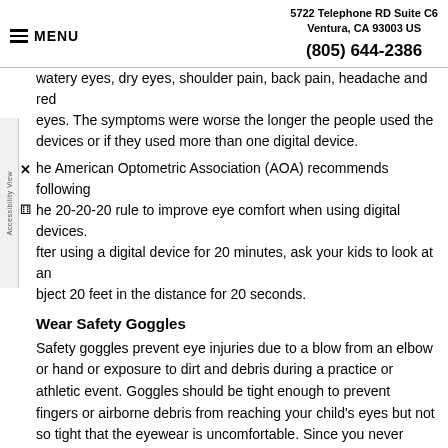5722 Telephone RD Suite C6 Ventura, CA 93003 US
(805) 644-2386
watery eyes, dry eyes, shoulder pain, back pain, headache and red eyes. The symptoms were worse the longer the people used the devices or if they used more than one digital device.
The American Optometric Association (AOA) recommends following the 20-20-20 rule to improve eye comfort when using digital devices. After using a digital device for 20 minutes, ask your kids to look at an object 20 feet in the distance for 20 seconds.
Wear Safety Goggles
Safety goggles prevent eye injuries due to a blow from an elbow or hand or exposure to dirt and debris during a practice or athletic event. Goggles should be tight enough to prevent fingers or airborne debris from reaching your child's eyes but not so tight that the eyewear is uncomfortable. Since you never know when an eye injury will happen, it's important to wear goggles during every practice and game.
Keep Screen Hours Honest